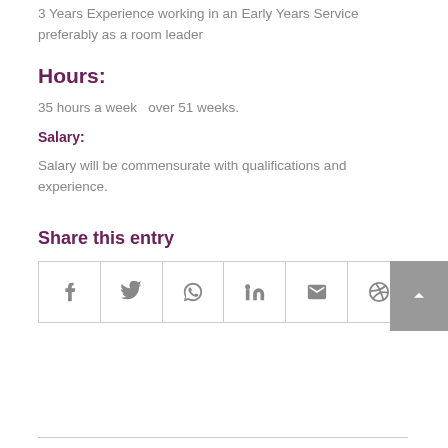3 Years Experience working in an Early Years Service preferably as a room leader
Hours:
35 hours a week  over 51 weeks.
Salary:
Salary will be commensurate with qualifications and experience.
Share this entry
[Figure (other): Social share buttons row: Facebook, Twitter, WhatsApp, LinkedIn, Email, Dribbble icons in a bordered grid layout]